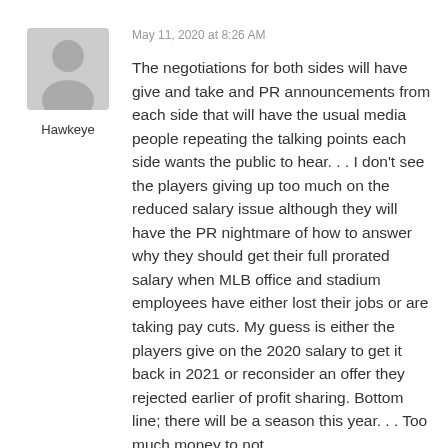[Figure (illustration): Generic user avatar icon — grey silhouette of a person on a light grey background]
Hawkeye
May 11, 2020 at 8:26 AM
The negotiations for both sides will have give and take and PR announcements from each side that will have the usual media people repeating the talking points each side wants the public to hear. . . I don't see the players giving up too much on the reduced salary issue although they will have the PR nightmare of how to answer why they should get their full prorated salary when MLB office and stadium employees have either lost their jobs or are taking pay cuts. My guess is either the players give on the 2020 salary to get it back in 2021 or reconsider an offer they rejected earlier of profit sharing. Bottom line; there will be a season this year. . . Too much money to not